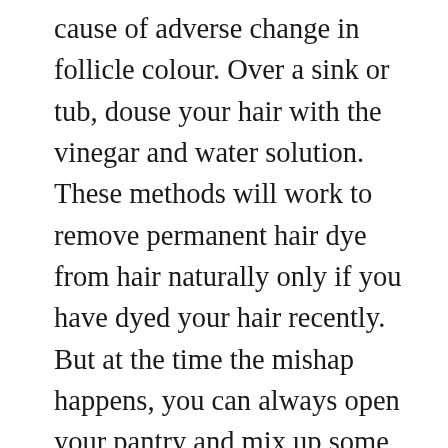cause of adverse change in follicle colour. Over a sink or tub, douse your hair with the vinegar and water solution. These methods will work to remove permanent hair dye from hair naturally only if you have dyed your hair recently. But at the time the mishap happens, you can always open your pantry and mix up some of that baking soda or pull out the big gun — insert hair color removal. If your hair is dry then using hair vinegar can make your hair drier or can cause breakage. Vinegar rinses are perfect for ALL hair types. Vinegar Rinse. Vinegar Rinse Benefits. Prev Post. High-Lift Blonde Dye to Remove Dye from Hair. Hello, I have a very important announcement to make: Apple cider